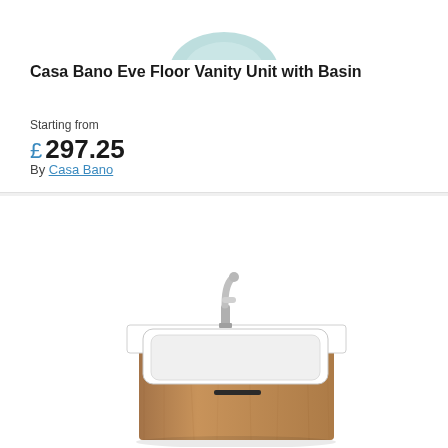[Figure (photo): Partial top view of a basin/sink product against white background]
Casa Bano Eve Floor Vanity Unit with Basin
Starting from
£ 297.25
By Casa Bano
[Figure (photo): Wall-hung vanity unit with white basin and chrome tap, oak wood cabinet with single drawer]